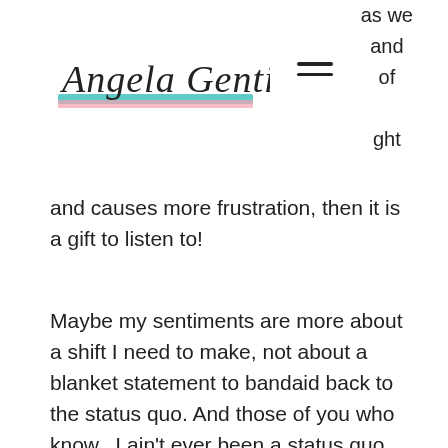Angela Gentile
as we
and
of
ght
and causes more frustration, then it is a gift to listen to!
Maybe my sentiments are more about a shift I need to make, not about a blanket statement to bandaid back to the status quo. And those of you who know...I ain't ever been a status quo kind gal. Matter fact, I inherently run fully force in the opposite direction.
So, here’s what I have come to understand in unpacking my burnout, which are just symptoms for me to dig a bit deeper. Maybe it can help you to do